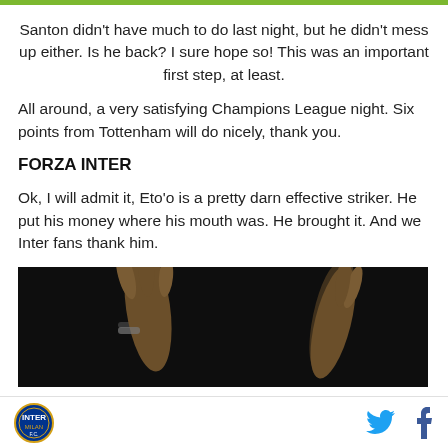Santon didn't have much to do last night, but he didn't mess up either. Is he back? I sure hope so! This was an important first step, at least.
All around, a very satisfying Champions League night. Six points from Tottenham will do nicely, thank you.
FORZA INTER
Ok, I will admit it, Eto'o is a pretty darn effective striker. He put his money where his mouth was. He brought it. And we Inter fans thank him.
[Figure (photo): Dark photo showing raised hands/arms against a dark background, appearing to be a celebration gesture]
Inter Milan logo, Twitter icon, Facebook icon